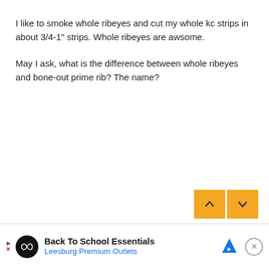I like to smoke whole ribeyes and cut my whole kc strips in about 3/4-1" strips. Whole ribeyes are awsome.
May I ask, what is the difference between whole ribeyes and bone-out prime rib? The name?
[Figure (other): Two navigation buttons (up and down arrows) with yellow/orange background]
[Figure (other): Advertisement bar: Back To School Essentials - Leesburg Premium Outlets, with play icon, infinity logo, directional arrow icon, and close button]